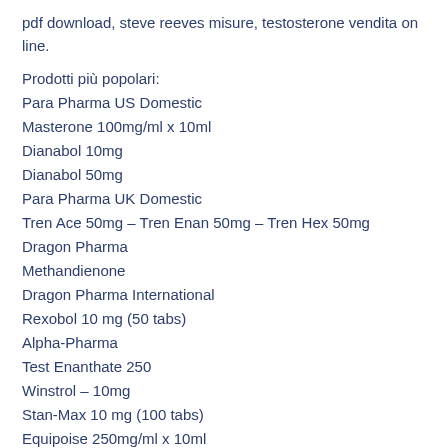pdf download, steve reeves misure, testosterone vendita on line.
Prodotti più popolari:
Para Pharma US Domestic
Masterone 100mg/ml x 10ml
Dianabol 10mg
Dianabol 50mg
Para Pharma UK Domestic
Tren Ace 50mg – Tren Enan 50mg – Tren Hex 50mg
Dragon Pharma
Methandienone
Dragon Pharma International
Rexobol 10 mg (50 tabs)
Alpha-Pharma
Test Enanthate 250
Winstrol – 10mg
Stan-Max 10 mg (100 tabs)
Equipoise 250mg/ml x 10ml
Anavar 10 mg (50 tabs)
Maha Pharma